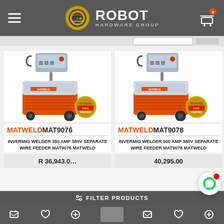ROBOT HARDWARE GROUP
[Figure (photo): Matweld MAT9076 InverMIG Welder 350 Amp orange welding machine with separate wire feeder and Training Free Voucher badge]
MATWELD MAT9076
INVERMIG WELDER 350 AMP 380V SEPARATE WIRE FEEDER MAT9076 MATWELD
R 36,943.0...
[Figure (photo): Matweld MAT9078 InverMIG Welder 500 Amp orange welding machine with separate wire feeder and Training Free Voucher badge]
MATWELD MAT9078
INVERMIG WELDER 500 AMP 380V SEPARATE WIRE FEEDER MAT9078 MATWELD
40,295.00
FILTER PRODUCTS
Cart and action icons